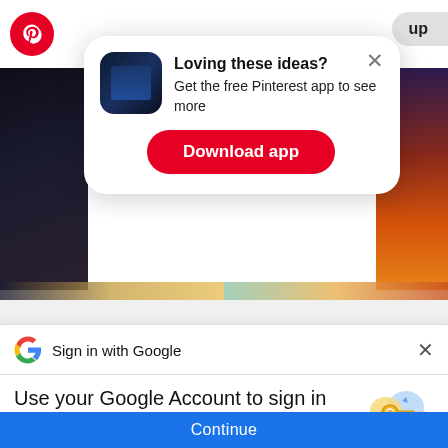[Figure (screenshot): Pinterest app interface showing two boards: Gadreel (6 Pins) and Demons (22 Pins), with dark and colorful thumbnail images on left and right sides]
[Figure (screenshot): Pinterest mobile popup dialog with app icon showing 'Loving these ideas? Get the free Pinterest app to see more' and a red 'Download app' button. An X close button is in the top right corner.]
Loving these ideas?
Get the free Pinterest app to see more
Download app
Gadreel
6 Pins
Demons
22 Pins
[Figure (screenshot): Google Sign In bottom sheet showing Google G logo, title 'Sign in with Google', heading 'Use your Google Account to sign in to Pinterest', subtext 'No more passwords to remember. Signing in is fast, simple and secure.', a colorful key illustration, and a blue Continue button at the bottom.]
Sign in with Google
Use your Google Account to sign in to Pinterest
No more passwords to remember. Signing in is fast, simple and secure.
Continue